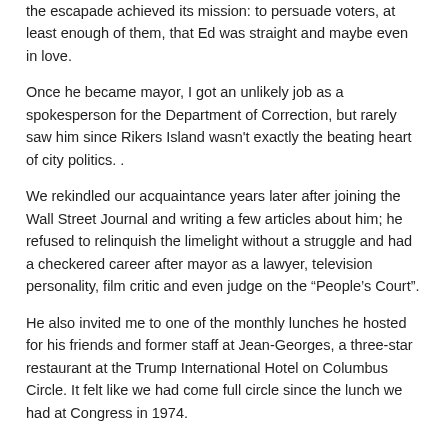the escapade achieved its mission: to persuade voters, at least enough of them, that Ed was straight and maybe even in love.
Once he became mayor, I got an unlikely job as a spokesperson for the Department of Correction, but rarely saw him since Rikers Island wasn't exactly the beating heart of city politics. .
We rekindled our acquaintance years later after joining the Wall Street Journal and writing a few articles about him; he refused to relinquish the limelight without a struggle and had a checkered career after mayor as a lawyer, television personality, film critic and even judge on the “People’s Court”.
He also invited me to one of the monthly lunches he hosted for his friends and former staff at Jean-Georges, a three-star restaurant at the Trump International Hotel on Columbus Circle. It felt like we had come full circle since the lunch we had at Congress in 1974.